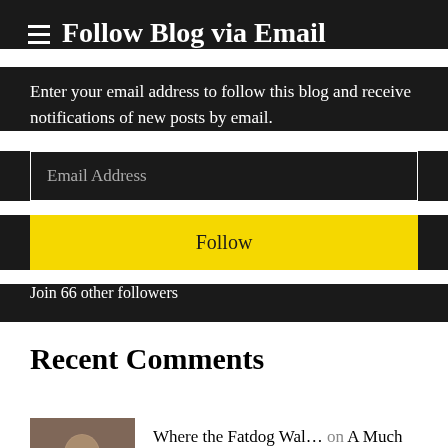Follow Blog via Email
Enter your email address to follow this blog and receive notifications of new posts by email.
Email Address
Follow
Join 66 other followers
Recent Comments
Where the Fatdog Wal… on A Much more Focussed Blogger R…